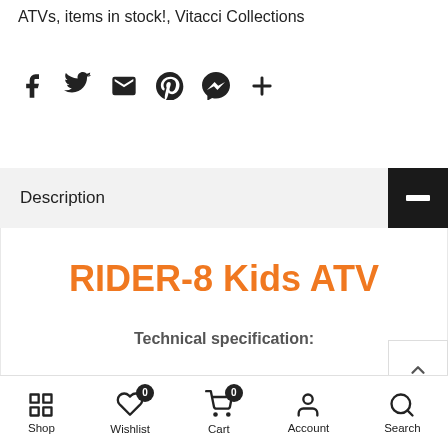ATVs, items in stock!, Vitacci Collections
[Figure (other): Social sharing icons row: Facebook, Twitter, Email, Pinterest, Messenger, Plus]
Description
RIDER-8 Kids ATV
Technical specification:
Shop   Wishlist 0   Cart 0   Account   Search